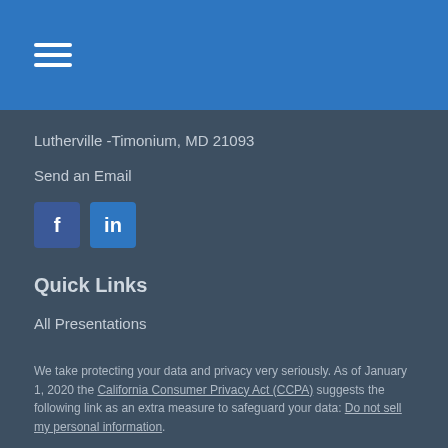[Figure (other): Blue header bar with hamburger menu icon (three white horizontal lines)]
Lutherville -Timonium, MD 21093
Send an Email
[Figure (other): Social media icons: Facebook (f) and LinkedIn (in)]
Quick Links
All Presentations
We take protecting your data and privacy very seriously. As of January 1, 2020 the California Consumer Privacy Act (CCPA) suggests the following link as an extra measure to safeguard your data: Do not sell my personal information.
Copyright 2022 Agency Revolution.